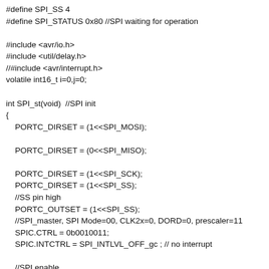#define SPI_SS 4
#define SPI_STATUS 0x80 //SPI waiting for operation

#include <avr/io.h>
#include <util/delay.h>
//#include <avr/interrupt.h>
volatile int16_t i=0,j=0;

int SPI_st(void)  //SPI init
{
    PORTC_DIRSET = (1<<SPI_MOSI);

    PORTC_DIRSET = (0<<SPI_MISO);

    PORTC_DIRSET = (1<<SPI_SCK);
    PORTC_DIRSET = (1<<SPI_SS);
    //SS pin high
    PORTC_OUTSET = (1<<SPI_SS);
    //SPI_master, SPI Mode=00, CLK2x=0, DORD=0, prescaler=11
    SPIC.CTRL = 0b0010011;
    SPIC.INTCTRL = SPI_INTLVL_OFF_gc ; // no interrupt

    //SPI enable
    SPIC.CTRL|=64;